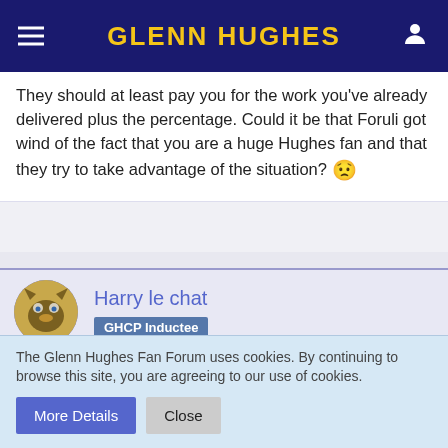GLENN HUGHES
They should at least pay you for the work you've already delivered plus the percentage. Could it be that Foruli got wind of the fact that you are a huge Hughes fan and that they try to take advantage of the situation? 😟
Harry le chat
GHCP Inductee
Jun 26th 2014
Dear Yvonne,
concerning your last sentence, I must admit this crossed my
The Glenn Hughes Fan Forum uses cookies. By continuing to browse this site, you are agreeing to our use of cookies.
More Details  Close